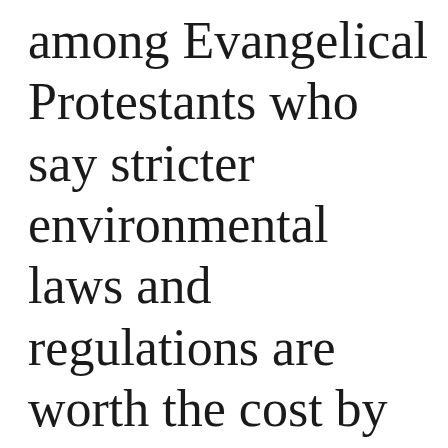among Evangelical Protestants who say stricter environmental laws and regulations are worth the cost by religious